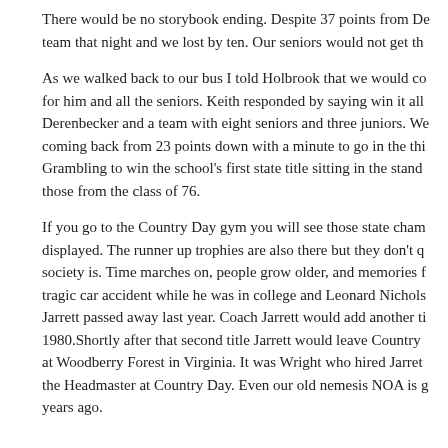There would be no storybook ending. Despite 37 points from De team that night and we lost by ten. Our seniors would not get th
As we walked back to our bus I told Holbrook that we would co for him and all the seniors. Keith responded by saying win it all Derenbecker and a team with eight seniors and three juniors. We coming back from 23 points down with a minute to go in the thi Grambling to win the school's first state title sitting in the stand those from the class of 76.
If you go to the Country Day gym you will see those state cham displayed. The runner up trophies are also there but they don't q society is. Time marches on, people grow older, and memories f tragic car accident while he was in college and Leonard Nichols Jarrett passed away last year. Coach Jarrett would add another ti 1980.Shortly after that second title Jarrett would leave Country at Woodberry Forest in Virginia. It was Wright who hired Jarret the Headmaster at Country Day. Even our old nemesis NOA is g years ago.